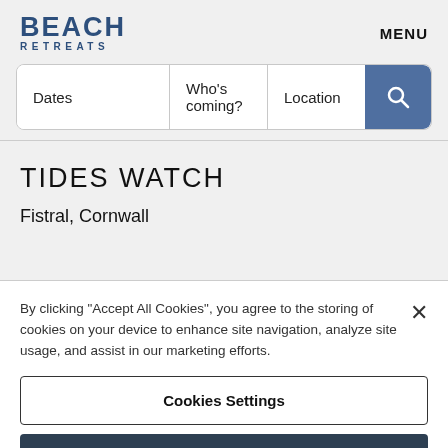BEACH RETREATS — MENU
[Figure (screenshot): Search bar with three fields: Dates, Who's coming?, Location, and a blue search button with magnifying glass icon]
TIDES WATCH
Fistral, Cornwall
By clicking "Accept All Cookies", you agree to the storing of cookies on your device to enhance site navigation, analyze site usage, and assist in our marketing efforts.
Cookies Settings
Reject All